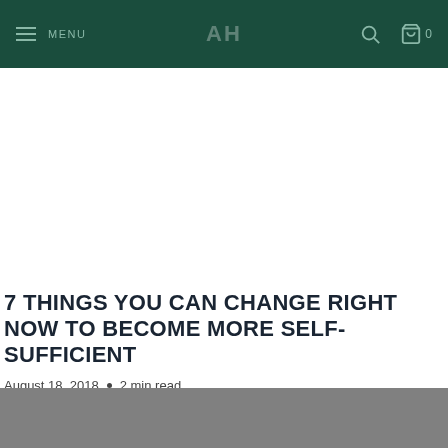MENU  0
7 THINGS YOU CAN CHANGE RIGHT NOW TO BECOME MORE SELF-SUFFICIENT
August 18, 2018  •  2 min read